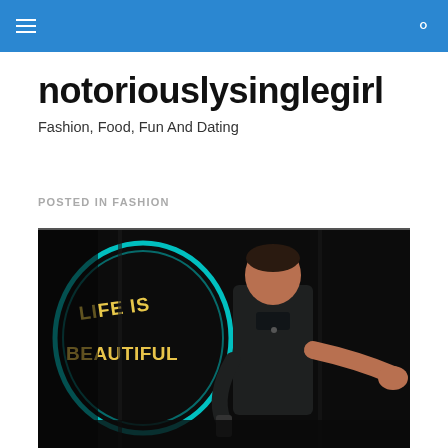notoriouslysinglegirl — navigation bar with menu and search icons
notoriouslysinglegirl
Fashion, Food, Fun And Dating
POSTED IN FASHION
[Figure (photo): A man in a dark shirt speaking on stage in front of a 'LIFE IS BEAUTIFUL' neon sign on a dark background, gesturing with his hands.]